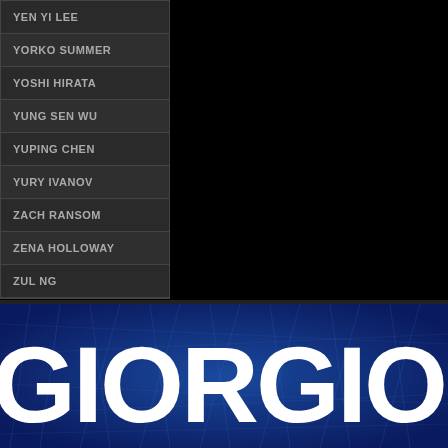YEN YI LEE
YORKO SUMMER
YOSHI HIRATA
YUNG SEN WU
YUPING CHEN
YURY IVANOV
ZACH RANSOM
ZENA HOLLOWAY
ZUL NG
[Figure (photo): Blue crystalline/metallic textured background with large white bold text reading GIORGIO, partially cropped on the right side]